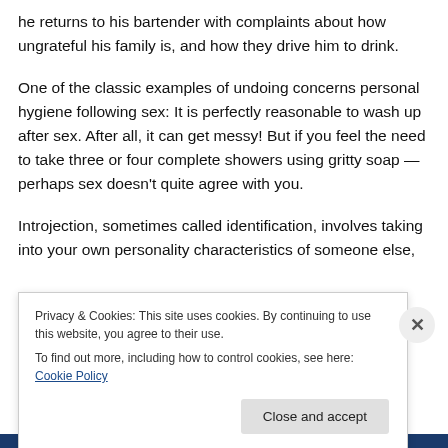he returns to his bartender with complaints about how ungrateful his family is, and how they drive him to drink.
One of the classic examples of undoing concerns personal hygiene following sex: It is perfectly reasonable to wash up after sex. After all, it can get messy! But if you feel the need to take three or four complete showers using gritty soap — perhaps sex doesn't quite agree with you.
Introjection, sometimes called identification, involves taking into your own personality characteristics of someone else, because doing so solves some emotional
Privacy & Cookies: This site uses cookies. By continuing to use this website, you agree to their use.
To find out more, including how to control cookies, see here: Cookie Policy
Close and accept